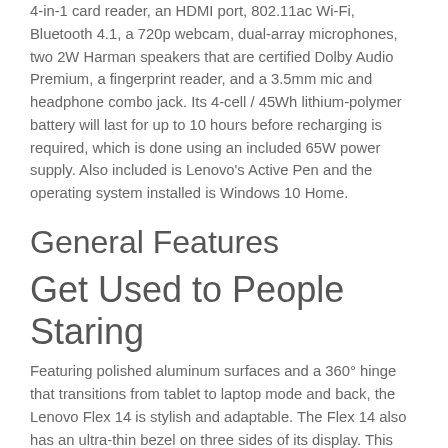4-in-1 card reader, an HDMI port, 802.11ac Wi-Fi, Bluetooth 4.1, a 720p webcam, dual-array microphones, two 2W Harman speakers that are certified Dolby Audio Premium, a fingerprint reader, and a 3.5mm mic and headphone combo jack. Its 4-cell / 45Wh lithium-polymer battery will last for up to 10 hours before recharging is required, which is done using an included 65W power supply. Also included is Lenovo's Active Pen and the operating system installed is Windows 10 Home.
General Features
Get Used to People Staring
Featuring polished aluminum surfaces and a 360° hinge that transitions from tablet to laptop mode and back, the Lenovo Flex 14 is stylish and adaptable. The Flex 14 also has an ultra-thin bezel on three sides of its display. This bezel creates a theater-like viewing experience when streaming video or movies.
Also Uses Lenovo's Active Pen & Windows Ink
The optional Lenovo Active Pen features pinpoint accuracy and palm-rejection technology, providing the natural feel of a pen-on-